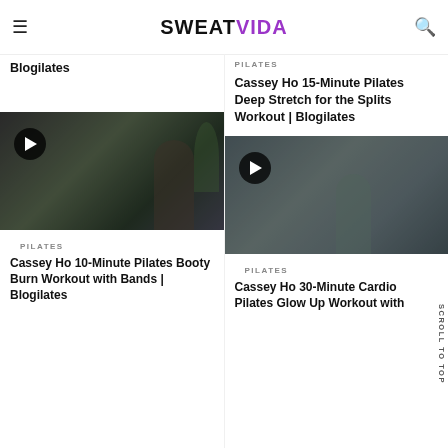SWEATVIDA
Blogilates
PILATES
Cassey Ho 15-Minute Pilates Deep Stretch for the Splits Workout | Blogilates
[Figure (photo): Video thumbnail showing a woman doing pilates with a plant in the background, with a play button overlay]
[Figure (photo): Video thumbnail showing a woman in workout clothes with a play button overlay]
PILATES
Cassey Ho 10-Minute Pilates Booty Burn Workout with Bands | Blogilates
PILATES
Cassey Ho 30-Minute Cardio Pilates Glow Up Workout with